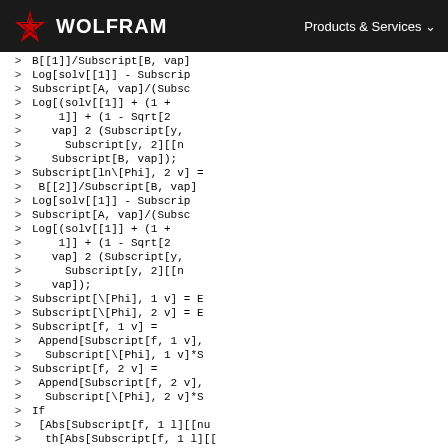WOLFRAM | Products & Services
Code block with Mathematica/Wolfram Language code lines showing fugacity coefficient calculations including Subscript, Log, Sqrt, Append, If, and Abs function calls